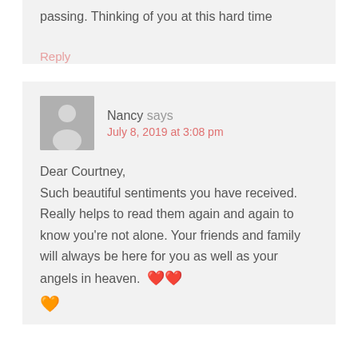passing. Thinking of you at this hard time
Reply
Nancy says
July 8, 2019 at 3:08 pm
Dear Courtney,
Such beautiful sentiments you have received. Really helps to read them again and again to know you're not alone. Your friends and family will always be here for you as well as your angels in heaven. ❤❤
🩷